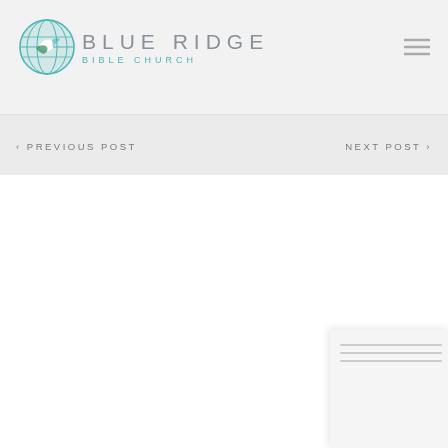Blue Ridge Bible Church
‹ PREVIOUS POST
NEXT POST ›